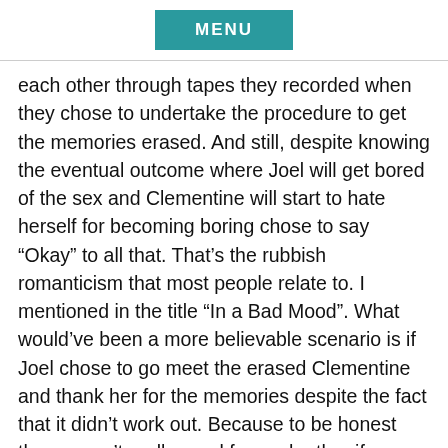MENU
each other through tapes they recorded when they chose to undertake the procedure to get the memories erased. And still, despite knowing the eventual outcome where Joel will get bored of the sex and Clementine will start to hate herself for becoming boring chose to say “Okay” to all that. That’s the rubbish romanticism that most people relate to. I mentioned in the title “In a Bad Mood”. What would’ve been a more believable scenario is if Joel chose to go meet the erased Clementine and thank her for the memories despite the fact that it didn’t work out. Because to be honest they weren’t really good for each other if you think about it. They didn’t really respect each other based …apes. Romantic love can never work without …. It’s hopeful ignorant fantasy that we wish we could live but none of us ever do successfully and for